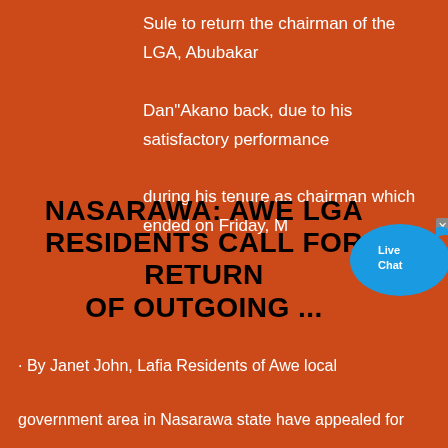Sule to return the chairman of the LGA, Abubakar Dan"Akano back, due to his satisfactory performance during his tenure as chairman which ended on Friday, M
NASARAWA: AWE LGA RESIDENTS CALL FOR RETURN OF OUTGOING ...
· By Janet John, Lafia Residents of Awe local government area in Nasarawa state have appealed for the return of the chairman of Awe local government, Abubakar Dan"Akano, commending his outstanding performance during his tenure as chairman which terminates on Friday, May 28, 2021.